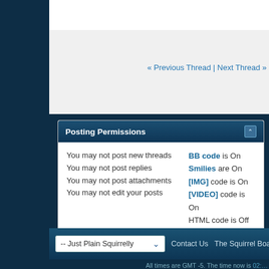« Previous Thread | Next Thread »
Posting Permissions
You may not post new threads
You may not post replies
You may not post attachments
You may not edit your posts
BB code is On
Smilies are On
[IMG] code is On
[VIDEO] code is On
HTML code is Off
Forum Rules
-- Just Plain Squirrelly
Contact Us   The Squirrel Board -
All times are GMT -5. The time now is 02:...
Powered by vBulletin® Version 4.2.2 Copyright © 2022 vBulletin Solutions, Inc. All rights reserved.